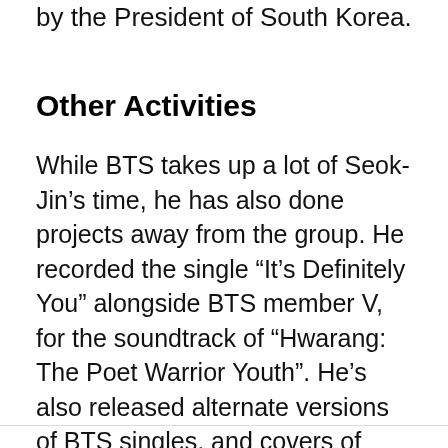by the President of South Korea.
Other Activities
While BTS takes up a lot of Seok-Jin's time, he has also done projects away from the group. He recorded the single “It’s Definitely You” alongside BTS member V, for the soundtrack of “Hwarang: The Poet Warrior Youth”. He’s also released alternate versions of BTS singles, and covers of other popular Korean songs with the help of a few BTS members. He has a SoundCloud account onto which he often uploads these off-shoots and side-projects.